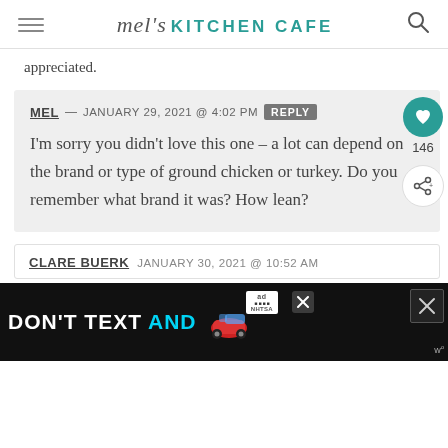mel's KITCHEN CAFE
appreciated.
MEL — JANUARY 29, 2021 @ 4:02 PM REPLY
I'm sorry you didn't love this one – a lot can depend on the brand or type of ground chicken or turkey. Do you remember what brand it was? How lean?
CLARE BUERK — JANUARY 30, 2021 @ 10:52 AM
[Figure (screenshot): Ad banner: DON'T TEXT AND (drive) with car emoji, ad badge, NHTSA logo, close button]